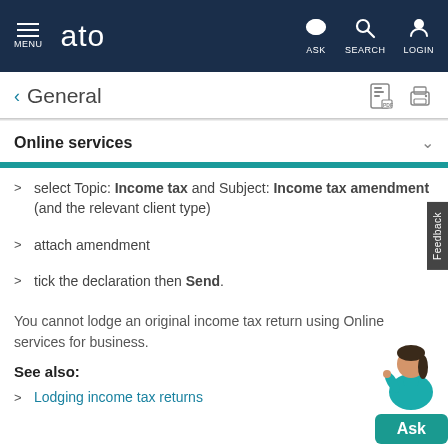ATO — MENU | ASK | SEARCH | LOGIN
General
Online services
select Topic: Income tax and Subject: Income tax amendment (and the relevant client type)
attach amendment
tick the declaration then Send.
You cannot lodge an original income tax return using Online services for business.
See also:
Lodging income tax returns